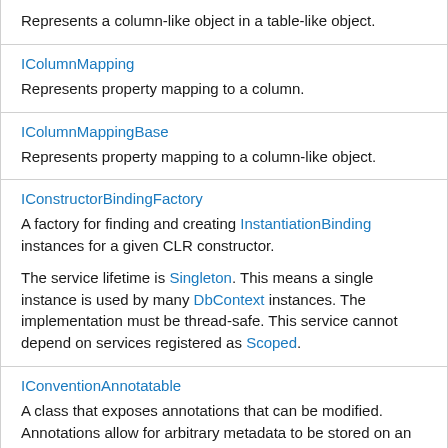Represents a column-like object in a table-like object.
IColumnMapping
Represents property mapping to a column.
IColumnMappingBase
Represents property mapping to a column-like object.
IConstructorBindingFactory
A factory for finding and creating InstantiationBinding instances for a given CLR constructor.
The service lifetime is Singleton. This means a single instance is used by many DbContext instances. The implementation must be thread-safe. This service cannot depend on services registered as Scoped.
IConventionAnnotatable
A class that exposes annotations that can be modified. Annotations allow for arbitrary metadata to be stored on an object.